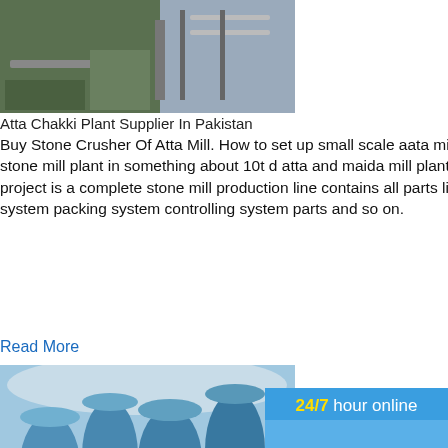[Figure (photo): Photo of stone crusher / atta chakki plant machinery at a facility in Pakistan]
Atta Chakki Plant Supplier In Pakistan
Buy Stone Crusher Of Atta Mill. How to set up small scale aata mill.How to set up an 10t d atta and maida stone mill plant in something about 10t d atta and maida mill plant the 10t24h atta and maida small mill project is a complete stone mill production line contains all parts like arain cleaning system stone milling system packing system controlling system parts and so on.
Read More
[Figure (photo): Industrial facility with large blue cylindrical machines, two people standing in foreground]
SREE BALAJI METACAST INDUSTRIES HI CR C...
Several trials have so far been conducted b...
Cement, Thermal Power and Ore Dressing...
[Figure (infographic): Side advertisement panel with '24/7 hour online' text, cone crusher machine image, 'Click me to chat>>' button, 'Enquiry' section, and 'limingjlmofen' branding on blue background]